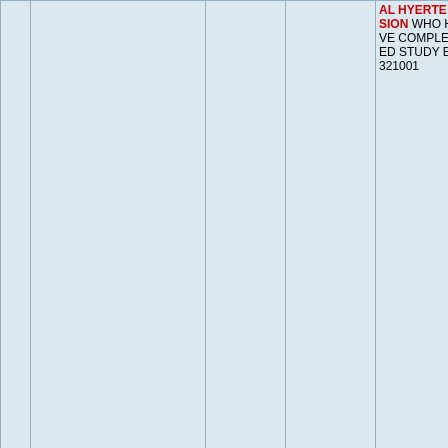| No. | TrialID | Date_enrollement | Last_Refreshed_on | Public_title |
| --- | --- | --- | --- | --- |
|  |  |  |  | AL HYPERTENSION WHO HAVE COMPLETED STUDY B1321001 |
| 341 | EUCTR2009-014453-32-BE | 11/01/2010 | 21 August 2017 | An open-label extension of BRS-MR-PAH-20 in pulmonary arterial hypertension (PAH) patients |